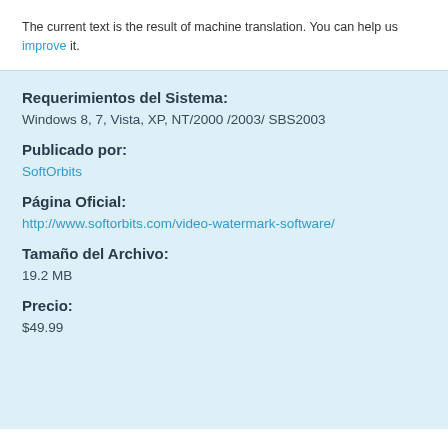The current text is the result of machine translation. You can help us improve it.
Requerimientos del Sistema:
Windows 8, 7, Vista, XP, NT/2000 /2003/ SBS2003
Publicado por:
SoftOrbits
Página Oficial:
http://www.softorbits.com/video-watermark-software/
Tamaño del Archivo:
19.2 MB
Precio:
$49.99